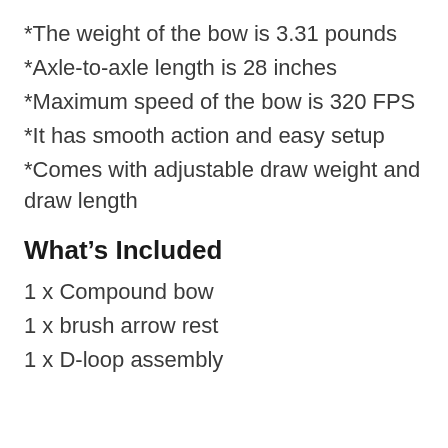*The weight of the bow is 3.31 pounds
*Axle-to-axle length is 28 inches
*Maximum speed of the bow is 320 FPS
*It has smooth action and easy setup
*Comes with adjustable draw weight and draw length
What’s Included
1 x Compound bow
1 x brush arrow rest
1 x D-loop assembly